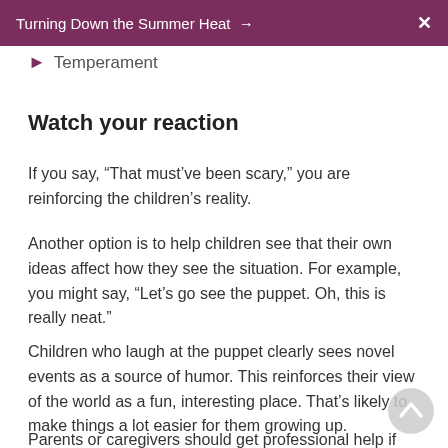Turning Down the Summer Heat →  X
Temperament
Watch your reaction
If you say, “That must’ve been scary,” you are reinforcing the children’s reality.
Another option is to help children see that their own ideas affect how they see the situation. For example, you might say, “Let’s go see the puppet. Oh, this is really neat.”
Children who laugh at the puppet clearly sees novel events as a source of humor. This reinforces their view of the world as a fun, interesting place. That’s likely to make things a lot easier for them growing up.
Parents or caregivers should get professional help if